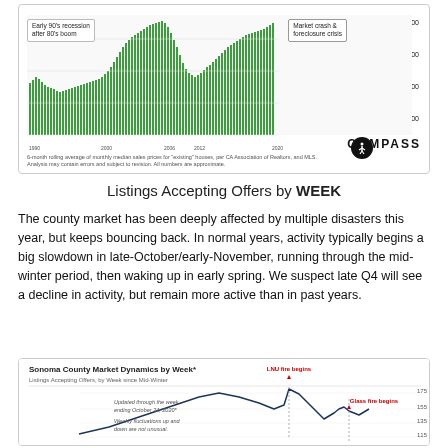[Figure (bar-chart): Bar chart showing 6-month rolling average of monthly median sales prices for existing houses from ~1990 to 2020, with annotations for 'Early 90s recession after 80s boom' and 'Market crash & foreclosure crisis'. Y-axis from $100,000 to $250,000+.]
6-month rolling average of monthly median sales prices for "existing" houses, per CA Association of Realtors, and MLS. Analysis may contain errors and subject to revision. All numbers are approximate.
Listings Accepting Offers by WEEK
The county market has been deeply affected by multiple disasters this year, but keeps bouncing back. In normal years, activity typically begins a big slowdown in late-October/early-November, running through the mid-winter period, then waking up in early spring. We suspect late Q4 will see a decline in activity, but remain more active than in past years.
[Figure (line-chart): Line chart showing Listings Accepting Offers by Week since Mid-Winter, updated through week ending October 24, 2020. Shows LNU fire begins and Glass fire begins annotations with dashed vertical lines. Y-axis values: 175, 155, 135, 115.]